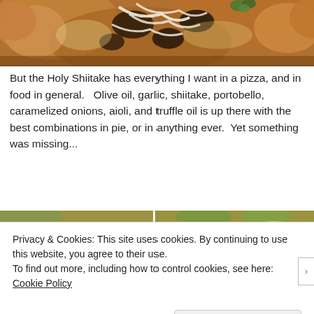[Figure (photo): Top portion of a pizza with mushrooms, caramelized onions, melted white cheese and garnish on top, viewed from above, showing the edge/crust of the pizza.]
But the Holy Shiitake has everything I want in a pizza, and in food in general.   Olive oil, garlic, shiitake, portobello, caramelized onions, aioli, and truffle oil is up there with the best combinations in pie, or in anything ever.  Yet something was missing...
[Figure (photo): Two side-by-side food photos: left shows a calzone or folded pizza slice with a mushroom visible, right shows a pizza slice with tomato sauce and melted cheese with herbs.]
Privacy & Cookies: This site uses cookies. By continuing to use this website, you agree to their use.
To find out more, including how to control cookies, see here: Cookie Policy
Close and accept